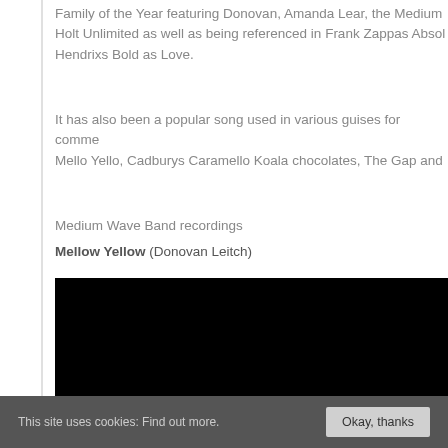Family of the Year featuring Donovan, Amanda Lear, the Medium Holt Unlimited as well as being referenced in Frank Zappas Absol Hendrixs Bold as Love.
It has also been a popular song used in various guises for comme Mello Yello, Cadburys Caramello Koala chocolates, The Gap and
Medium Wave Band recordings
Mellow Yellow (Donovan Leitch)
[Figure (other): Black video player embed area]
This site uses cookies: Find out more.